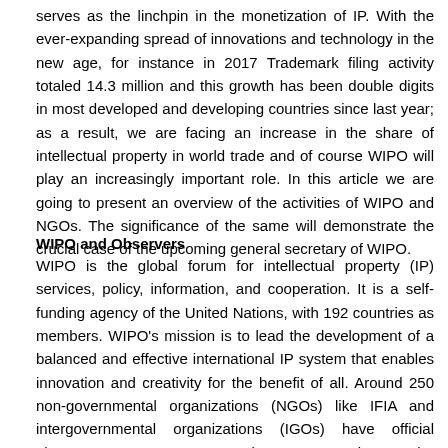serves as the linchpin in the monetization of IP. With the ever-expanding spread of innovations and technology in the new age, for instance in 2017 Trademark filing activity totaled 14.3 million and this growth has been double digits in most developed and developing countries since last year; as a result, we are facing an increase in the share of intellectual property in world trade and of course WIPO will play an increasingly important role. In this article we are going to present an overview of the activities of WIPO and NGOs. The significance of the same will demonstrate the crucial case of the upcoming general secretary of WIPO.
WIPO and Observers
WIPO is the global forum for intellectual property (IP) services, policy, information, and cooperation. It is a self-funding agency of the United Nations, with 192 countries as members. WIPO's mission is to lead the development of a balanced and effective international IP system that enables innovation and creativity for the benefit of all. Around 250 non-governmental organizations (NGOs) like IFIA and intergovernmental organizations (IGOs) have official observer status at WIPO meetings. WIPO welcomes the inclusion of stakeholder organizations and interested groups as